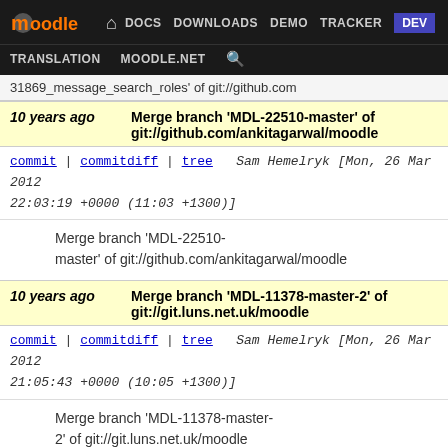Moodle DEV navigation bar with links: DOCS, DOWNLOADS, DEMO, TRACKER, DEV, TRANSLATION, MOODLE.NET
31869_message_search_roles' of git://github.com
10 years ago   Merge branch 'MDL-22510-master' of git://github.com/ankitagarwal/moodle
commit | commitdiff | tree   Sam Hemelryk [Mon, 26 Mar 2012 22:03:19 +0000 (11:03 +1300)]
Merge branch 'MDL-22510-master' of git://github.com/ankitagarwal/moodle
10 years ago   Merge branch 'MDL-11378-master-2' of git://git.luns.net.uk/moodle
commit | commitdiff | tree   Sam Hemelryk [Mon, 26 Mar 2012 21:05:43 +0000 (10:05 +1300)]
Merge branch 'MDL-11378-master-2' of git://git.luns.net.uk/moodle
10 years ago   Merge branch 'master_MDL-32147' of git://github.com/danmarsden/moodle